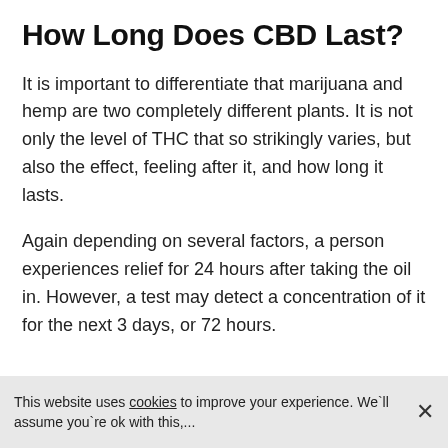How Long Does CBD Last?
It is important to differentiate that marijuana and hemp are two completely different plants. It is not only the level of THC that so strikingly varies, but also the effect, feeling after it, and how long it lasts.
Again depending on several factors, a person experiences relief for 24 hours after taking the oil in. However, a test may detect a concentration of it for the next 3 days, or 72 hours.
This website uses cookies to improve your experience. We`ll assume you`re ok with this,...